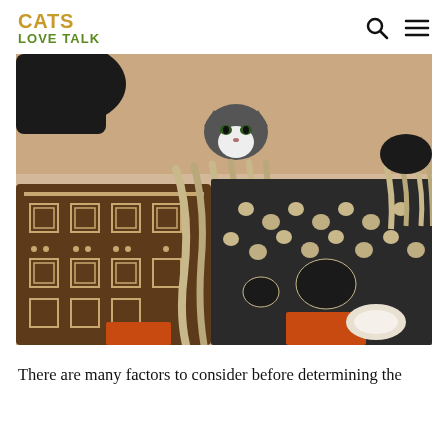CATS LOVE TALK
[Figure (photo): A black and white tuxedo cat peering over a pile of colorful textured blankets and pillows with African mudcloth patterns and chunky knit throws in earth tones.]
There are many factors to consider before determining the